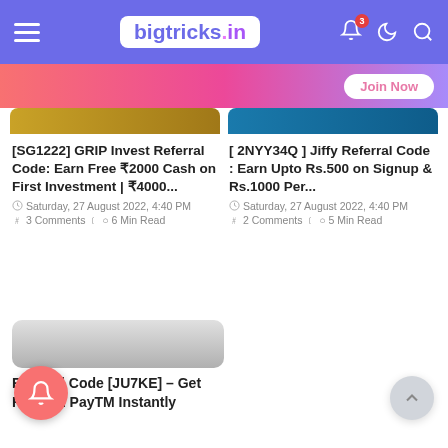bigtricks.in — navigation header with hamburger menu, logo, bell (3), moon, and search icons
[Figure (screenshot): Pink-to-purple gradient banner with Join Now button]
[SG1222] GRIP Invest Referral Code: Earn Free ₹2000 Cash on First Investment | ₹4000...
Saturday, 27 August 2022, 4:40 PM
3 Comments  ○ 6 Min Read
[ 2NYY34Q ] Jiffy Referral Code : Earn Upto Rs.500 on Signup & Rs.1000 Per...
Saturday, 27 August 2022, 4:40 PM
2 Comments  ○ 5 Min Read
Referral Code [JU7KE] – Get Rs.10 in PayTM Instantly